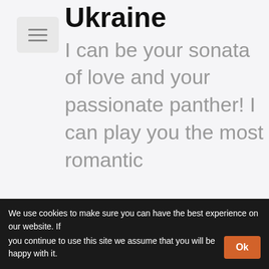[Figure (other): Hamburger menu button icon with three horizontal lines on a light gray rounded rectangle background]
Ukraine
I can be your sonata of love and your passionate panther! I can play you the most romantic
We use cookies to make sure you can have the best experience on our website. If you continue to use this site we assume that you will be happy with it.